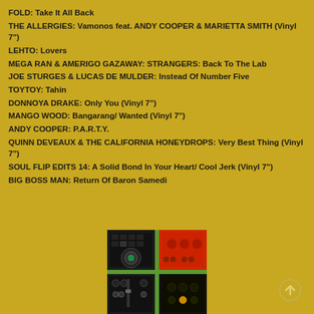FOLD: Take It All Back
THE ALLERGIES: Vamonos feat. ANDY COOPER & MARIETTA SMITH (Vinyl 7")
LEHTO: Lovers
MEGA RAN & AMERIGO GAZAWAY: STRANGERS: Back To The Lab
JOE STURGES & LUCAS DE MULDER: Instead Of Number Five
TOYTOY: Tahin
DONNOYA DRAKE: Only You (Vinyl 7")
MANGO WOOD: Bangarang/ Wanted (Vinyl 7")
ANDY COOPER: P.A.R.T.Y.
QUINN DEVEAUX & THE CALIFORNIA HONEYDROPS: Very Best Thing (Vinyl 7")
SOUL FLIP EDITS 14: A Solid Bond In Your Heart/ Cool Jerk (Vinyl 7")
BIG BOSS MAN: Return Of Baron Samedi
[Figure (photo): 2x2 grid of music/DJ equipment photos: DJ controller (top-left), Focusrite audio interface in red (top-right), mixing board (bottom-left), small audio device with knobs (bottom-right)]